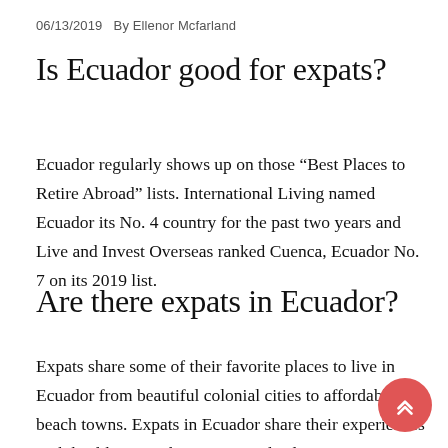06/13/2019   By Ellenor Mcfarland
Is Ecuador good for expats?
Ecuador regularly shows up on those “Best Places to Retire Abroad” lists. International Living named Ecuador its No. 4 country for the past two years and Live and Invest Overseas ranked Cuenca, Ecuador No. 7 on its 2019 list.
Are there expats in Ecuador?
Expats share some of their favorite places to live in Ecuador from beautiful colonial cities to affordable beach towns. Expats in Ecuador share their experiences with healthcare and overseas medical insurance in Ecuador.